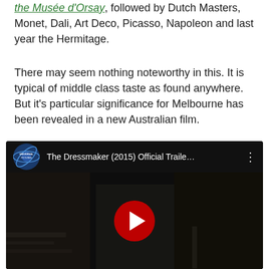the Musée d'Orsay, followed by Dutch Masters, Monet, Dali, Art Deco, Picasso, Napoleon and last year the Hermitage.
There may seem nothing noteworthy in this. It is typical of middle class taste as found anywhere. But it's particular significance for Melbourne has been revealed in a new Australian film.
[Figure (screenshot): YouTube video embed showing 'The Dressmaker (2015) Official Traile...' with Universal Pictures logo, three-dot menu, and a dark video thumbnail with a red YouTube play button overlay]